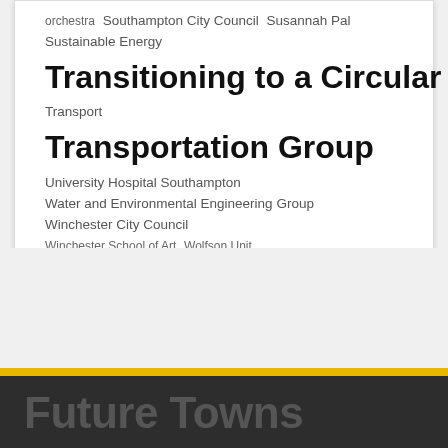orchestra  Southampton City Council  Susannah Pal  Sustainable Energy  Transitioning to a Circular Economy (TRACE)  Transport  Transportation Group  University Hospital Southampton  Water and Environmental Engineering Group  Winchester City Council  Winchester School of Art  Wolfson Unit
Future Towns